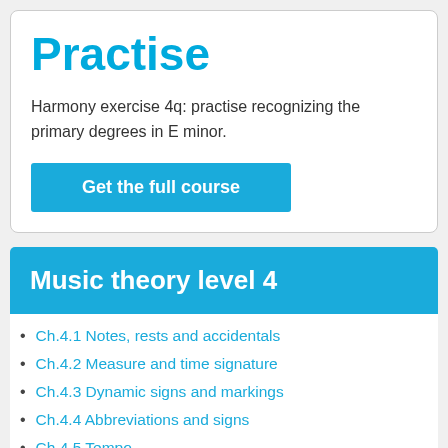Practise
Harmony exercise 4q: practise recognizing the primary degrees in E minor.
Get the full course
Music theory level 4
Ch.4.1 Notes, rests and accidentals
Ch.4.2 Measure and time signature
Ch.4.3 Dynamic signs and markings
Ch.4.4 Abbreviations and signs
Ch.4.5 Tempo
Ch.4.6 Musical forms
Ch.4.7 Ornaments